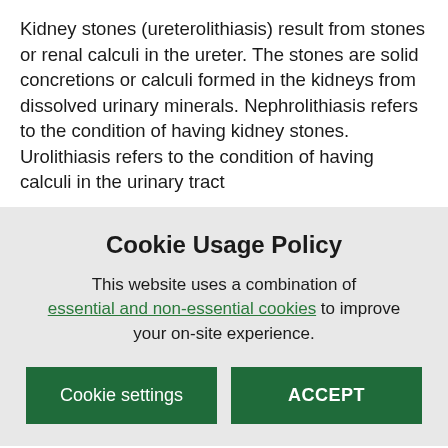Kidney stones (ureterolithiasis) result from stones or renal calculi in the ureter. The stones are solid concretions or calculi formed in the kidneys from dissolved urinary minerals. Nephrolithiasis refers to the condition of having kidney stones. Urolithiasis refers to the condition of having calculi in the urinary tract
Cookie Usage Policy
This website uses a combination of essential and non-essential cookies to improve your on-site experience.
Cookie settings
ACCEPT